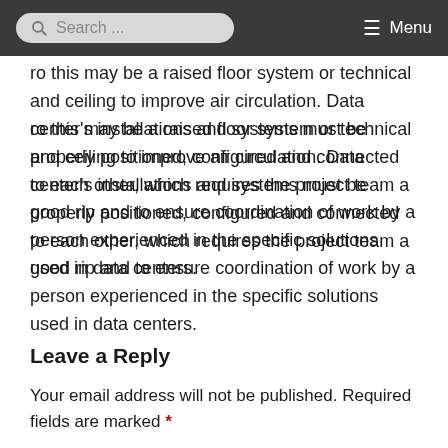Search ... Menu
ro this may be a raised floor system or technical and ceiling to improve air circulation. Data center's installations and systems must be properly positioned, configured and connected to each other, which requires the project team a good rip and to ensure coordination of work by a person experienced in the specific solutions used in data centers.
Leave a Reply
Your email address will not be published. Required fields are marked *